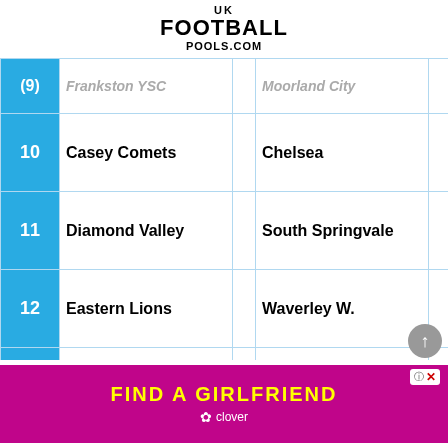UK FOOTBALL POOLS.COM
| # | Home |  | Away | Result |
| --- | --- | --- | --- | --- |
| (9) | Frankston YSC (cut) |  | Moorland City (cut) |  |
| 10 | Casey Comets |  | Chelsea | Away |
| 11 | Diamond Valley |  | South Springvale | Away |
| 12 | Eastern Lions |  | Waverley W. | Home |
| 13 | Knox City |  | Peninsula | Home |
| 14 | Northcote City (cut) |  | Stonnington C (cut) | Home / Away (cut) |
[Figure (infographic): Advertisement banner: FIND A GIRLFRIEND - Clover dating app]